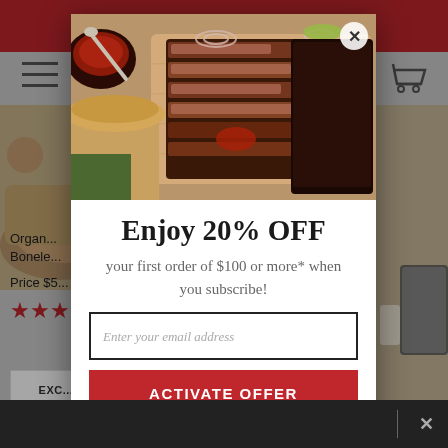[Figure (screenshot): Website background showing product listing page with red header bar, hamburger menu, cart icon, product image of meat, and EXC label]
[Figure (photo): Food photo inside modal popup showing sliced BBQ brisket on a wooden cutting board with sauce, onions, and pickled peppers]
Enjoy 20% OFF
your first order of $100 or more* when you subscribe!
Enter your email address
ACTIVATE OFFER